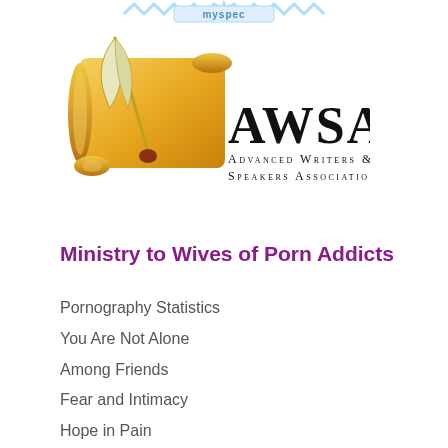[Figure (logo): Myspace badge/starburst logo at top center with text 'myspec' in blue decorative style]
[Figure (logo): AWSA (Advanced Writers & Speakers Association) logo with gold quill and scroll graphic, large AWSA text, and subtitle 'Advanced Writers & Speakers Association']
Ministry to Wives of Porn Addicts
Pornography Statistics
You Are Not Alone
Among Friends
Fear and Intimacy
Hope in Pain
Links to Ministries and Counseling